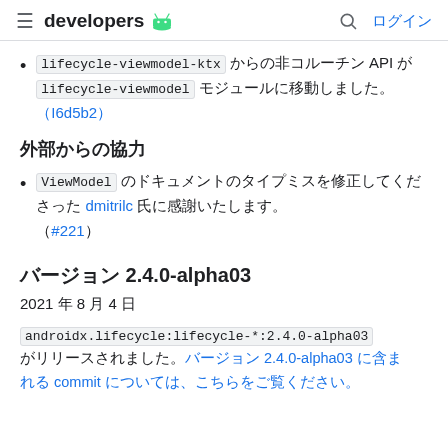developers
lifecycle-viewmodel-ktx からの非コルーチン API が lifecycle-viewmodel モジュールに移動しました。 (I6d5b2)
外部からの協力
ViewModel のドキュメントのタイプミスを修正してくださった dmitrilc 氏に感謝いたします。 (#221)
バージョン 2.4.0-alpha03
2021 年 8 月 4 日
androidx.lifecycle:lifecycle-*:2.4.0-alpha03 がリリースされました。バージョン 2.4.0-alpha03 に含まれる commit については、こちらをご覧ください。